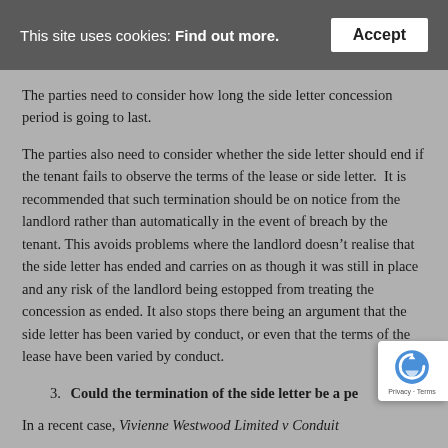This site uses cookies: Find out more.   Accept
The parties need to consider how long the side letter concession period is going to last.
The parties also need to consider whether the side letter should end if the tenant fails to observe the terms of the lease or side letter. It is recommended that such termination should be on notice from the landlord rather than automatically in the event of breach by the tenant. This avoids problems where the landlord doesn’t realise that the side letter has ended and carries on as though it was still in place and any risk of the landlord being estopped from treating the concession as ended. It also stops there being an argument that the side letter has been varied by conduct, or even that the terms of the lease have been varied by conduct.
3. Could the termination of the side letter be a pe
In a recent case, Vivienne Westwood Limited v Conduit